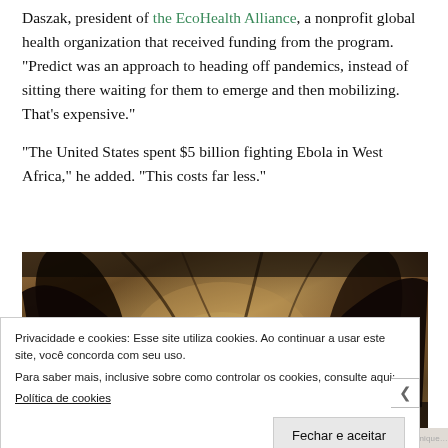Daszak, president of the EcoHealth Alliance, a nonprofit global health organization that received funding from the program. “Predict was an approach to heading off pandemics, instead of sitting there waiting for them to emerge and then mobilizing. That’s expensive.”
“The United States spent $5 billion fighting Ebola in West Africa,” he added. “This costs far less.”
[Figure (photo): Close-up dark photograph of what appears to be bats or animals with wings/claws visible against a dark background]
Privacidade e cookies: Esse site utiliza cookies. Ao continuar a usar este site, você concorda com seu uso.
Para saber mais, inclusive sobre como controlar os cookies, consulte aqui:
Política de cookies
Fechar e aceitar